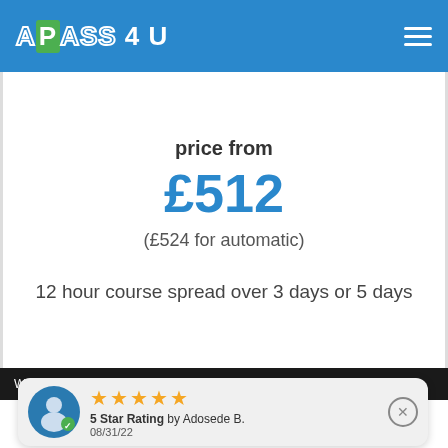APASS 4 U
price from
£512
(£524 for automatic)
12 hour course spread over 3 days or 5 days
We use cookies to ensure that we give you the best experience on
5 Star Rating by Adosede B.
08/31/22